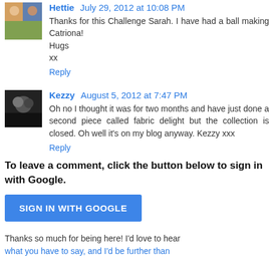Hettie July 29, 2012 at 10:08 PM
Thanks for this Challenge Sarah. I have had a ball making Catriona!
Hugs
xx
Reply
Kezzy August 5, 2012 at 7:47 PM
Oh no I thought it was for two months and have just done a second piece called fabric delight but the collection is closed. Oh well it's on my blog anyway. Kezzy xxx
Reply
To leave a comment, click the button below to sign in with Google.
SIGN IN WITH GOOGLE
Thanks so much for being here! I'd love to hear